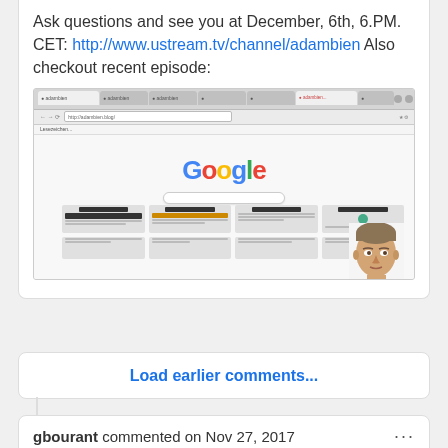Ask questions and see you at December, 6th, 6.PM. CET: http://www.ustream.tv/channel/adambien Also checkout recent episode:
[Figure (screenshot): Screenshot of a browser window showing a Google homepage with multiple tabs open and a person's face visible in the lower right corner of the browser content area.]
Load earlier comments...
gbourant commented on Nov 27, 2017